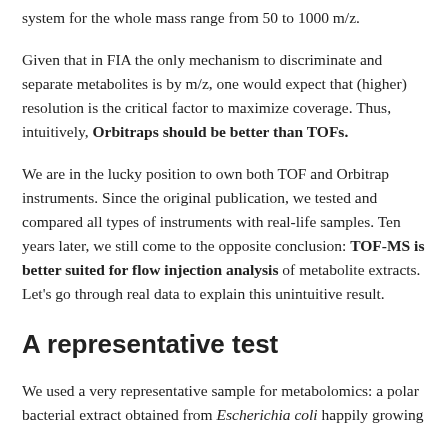system for the whole mass range from 50 to 1000 m/z.
Given that in FIA the only mechanism to discriminate and separate metabolites is by m/z, one would expect that (higher) resolution is the critical factor to maximize coverage. Thus, intuitively, Orbitraps should be better than TOFs.
We are in the lucky position to own both TOF and Orbitrap instruments. Since the original publication, we tested and compared all types of instruments with real-life samples. Ten years later, we still come to the opposite conclusion: TOF-MS is better suited for flow injection analysis of metabolite extracts. Let's go through real data to explain this unintuitive result.
A representative test
We used a very representative sample for metabolomics: a polar bacterial extract obtained from Escherichia coli happily growing